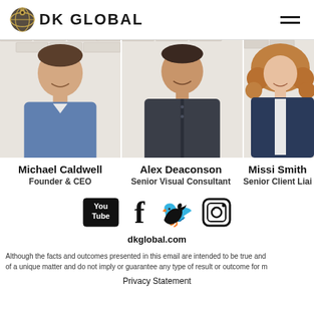DK GLOBAL
[Figure (photo): Three team member headshots side by side: Michael Caldwell (man in blue shirt), Alex Deaconson (man in dark shirt), Missi Smith (woman with curly hair)]
Michael Caldwell
Founder & CEO
Alex Deaconson
Senior Visual Consultant
Missi Smith
Senior Client Liai
[Figure (logo): Social media icons: YouTube, Facebook, Twitter, Instagram]
dkglobal.com
Although the facts and outcomes presented in this email are intended to be true and of a unique matter and do not imply or guarantee any type of result or outcome for m
Privacy Statement